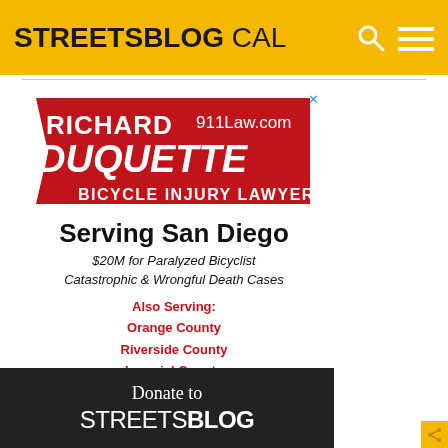STREETSBLOG CAL
[Figure (logo): Richard Duquette 911Law.com Bicycle Injury Lawyer advertisement logo with red and white design]
Serving San Diego
$20M for Paralyzed Bicyclist
Catastrophic & Wrongful Death Cases
Also Serving:
Orange County
Riverside County
Imperial County
[Figure (infographic): Donate to STREETSBLOG banner with dark background]